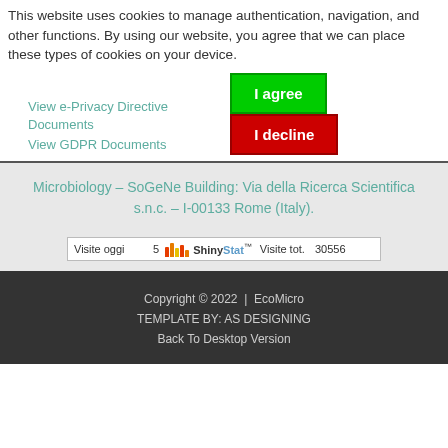This website uses cookies to manage authentication, navigation, and other functions. By using our website, you agree that we can place these types of cookies on your device.
View e-Privacy Directive Documents
View GDPR Documents
I agree | I decline
Microbiology – SoGeNe Building: Via della Ricerca Scientifica s.n.c. – I-00133 Rome (Italy).
[Figure (other): ShinyStats counter widget showing Visite oggi: 5, Visite tot.: 30556]
Copyright © 2022  |  EcoMicro
TEMPLATE BY: AS DESIGNING
Back To Desktop Version